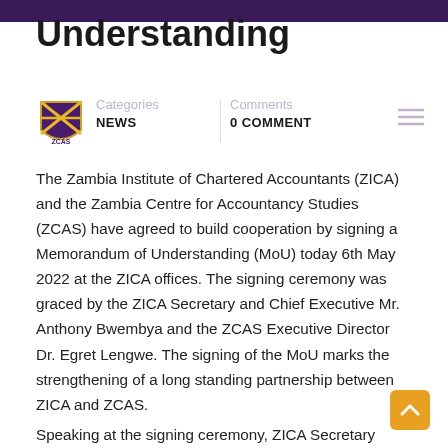Understanding
[Figure (logo): ZCAS shield logo with gold and purple colors]
Categories
NEWS
Comments
0 COMMENT
The Zambia Institute of Chartered Accountants (ZICA) and the Zambia Centre for Accountancy Studies (ZCAS) have agreed to build cooperation by signing a Memorandum of Understanding (MoU) today 6th May 2022 at the ZICA offices. The signing ceremony was graced by the ZICA Secretary and Chief Executive Mr. Anthony Bwembya and the ZCAS Executive Director Dr. Egret Lengwe. The signing of the MoU marks the strengthening of a long standing partnership between ZICA and ZCAS.
Speaking at the signing ceremony, ZICA Secretary